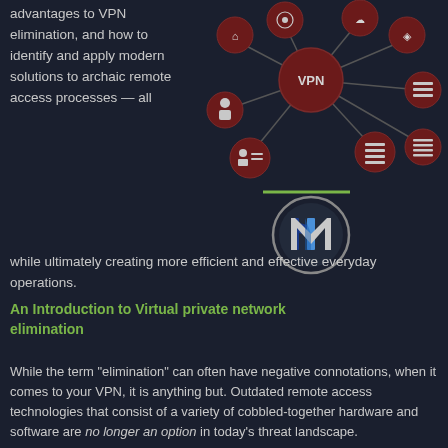advantages to VPN elimination, and how to identify and apply modern solutions to archaic remote access processes — all while ultimately creating more efficient and effective everyday operations.
[Figure (infographic): Dark-themed VPN network diagram showing interconnected nodes (house, person, cloud, database, server icons) connected to a central VPN node, with a circular logo featuring an M below it]
An Introduction to Virtual private network elimination
While the term "elimination" can often have negative connotations, when it comes to your VPN, it is anything but. Outdated remote access technologies that consist of a variety of cobbled-together hardware and software are no longer an option in today's threat landscape.